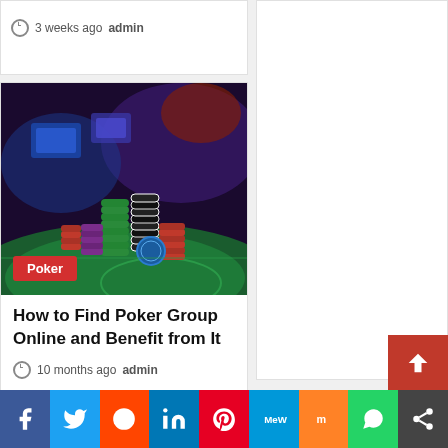3 weeks ago admin
[Figure (photo): Casino poker chips stacked on green felt table with colorful background lights. A red badge reads 'Poker'.]
How to Find Poker Group Online and Benefit from It
10 months ago admin
Facebook Twitter Reddit LinkedIn Pinterest MeWe Mix WhatsApp Share